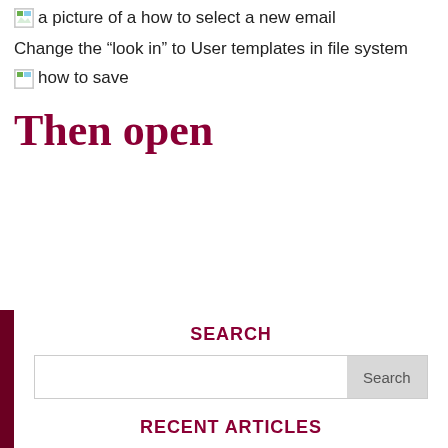[Figure (screenshot): Broken image placeholder with alt text 'a picture of a how to select a new email']
Change the “look in” to User templates in file system
[Figure (screenshot): Broken image placeholder with alt text 'how to save']
Then open
SEARCH
Search
RECENT ARTICLES